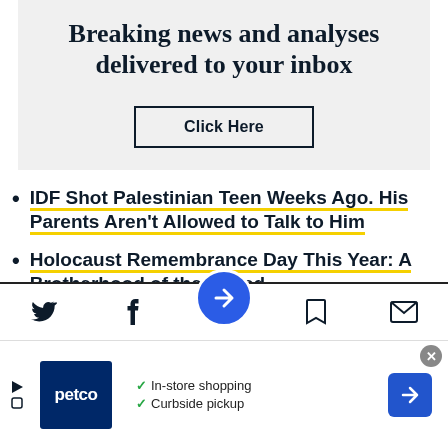Breaking news and analyses delivered to your inbox
Click Here
IDF Shot Palestinian Teen Weeks Ago. His Parents Aren't Allowed to Talk to Him
Holocaust Remembrance Day This Year: A Brotherhood of the Inured
Police Say Palestinian jumped to His Death
[Figure (screenshot): App navigation bar with Twitter, Facebook, bookmark home button (blue circle with arrow icon), save, and email icons]
[Figure (screenshot): Petco advertisement banner showing In-store shopping and Curbside pickup with checkmarks, Petco logo, and navigation arrow]